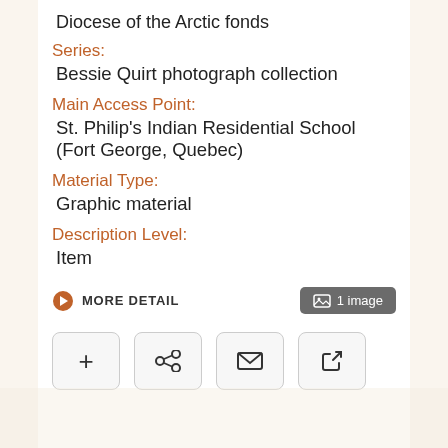Diocese of the Arctic fonds
Series:
Bessie Quirt photograph collection
Main Access Point:
St. Philip's Indian Residential School (Fort George, Quebec)
Material Type:
Graphic material
Description Level:
Item
MORE DETAIL | 1 image
[Figure (other): Action buttons: add (+), share, email (envelope), external link]